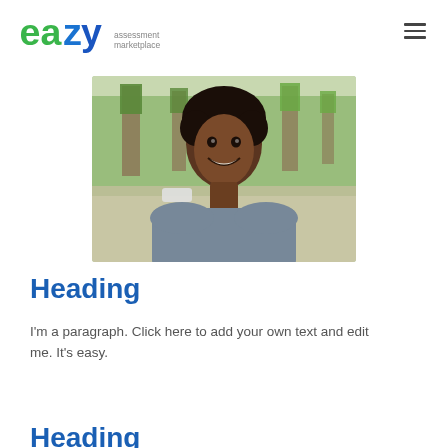[Figure (logo): eazy assessment marketplace logo — 'ea' in green, 'zy' in blue, tagline 'assessment marketplace' in gray, hamburger menu icon on right]
[Figure (photo): Young man with curly hair, smiling, wearing a gray t-shirt, standing outdoors with trees and a street in the background]
Heading
I'm a paragraph. Click here to add your own text and edit me. It's easy.
Heading